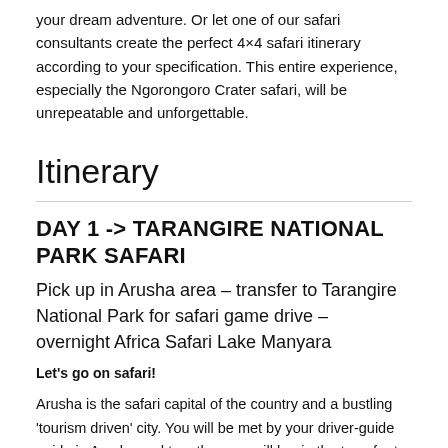your dream adventure. Or let one of our safari consultants create the perfect 4×4 safari itinerary according to your specification. This entire experience, especially the Ngorongoro Crater safari, will be unrepeatable and unforgettable.
Itinerary
DAY 1 -> TARANGIRE NATIONAL PARK SAFARI
Pick up in Arusha area – transfer to Tarangire National Park for safari game drive –  overnight Africa Safari Lake Manyara
Let's go on safari!
Arusha is the safari capital of the country and a bustling 'tourism driven' city. You will be met by your driver-guide guide in Arusha and together you will begin the transfer to Tarangire National Park